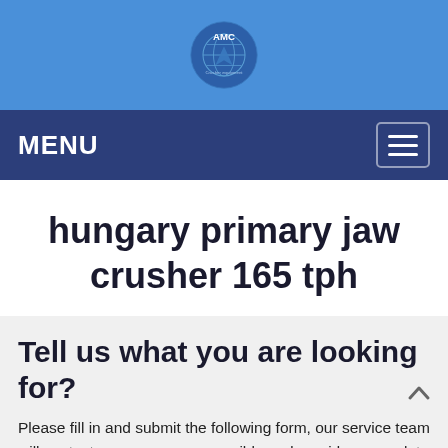[Figure (logo): AMC Crusher logo with globe icon and company name in blue circle on blue background]
MENU
hungary primary jaw crusher 165 tph
Tell us what you are looking for?
Please fill in and submit the following form, our service team will contact you as soon as possible and provide a complete solution.